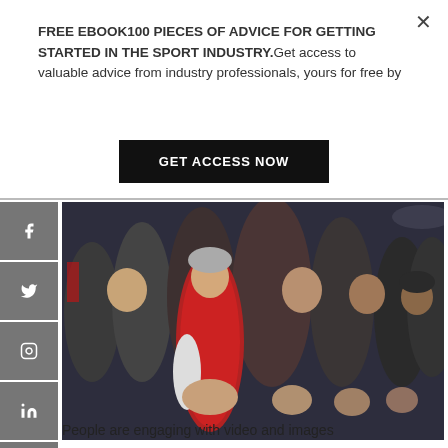FREE EBOOK100 PIECES OF ADVICE FOR GETTING STARTED IN THE SPORT INDUSTRY.Get access to valuable advice from industry professionals, yours for free by
GET ACCESS NOW
[Figure (photo): Crowd of sports fans clapping and cheering in a stadium, man in red jacket prominently featured in center]
What are you excited about in your industry at the moment?
People are engaging with video and images